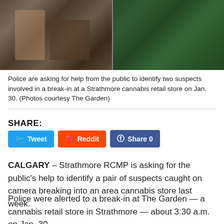[Figure (photo): Two side-by-side surveillance camera images showing suspects inside a cannabis retail store during a break-in.]
Police are asking for help from the public to identify two suspects involved in a break-in at a Strathmore cannabis retail store on Jan. 30. (Photos courtesy The Garden)
SHARE:
[Figure (screenshot): Share buttons: Tweet (Twitter), Reddit, Share 0 (Facebook)]
CALGARY – Strathmore RCMP is asking for the public's help to identify a pair of suspects caught on camera breaking into an area cannabis store last week.
Police were alerted to a break-in at The Garden — a cannabis retail store in Strathmore — about 3:30 a.m. on Jan. 30.